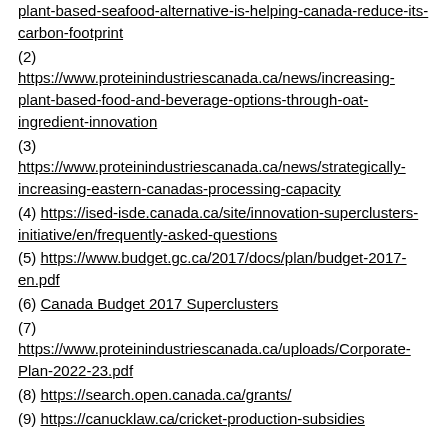plant-based-seafood-alternative-is-helping-canada-reduce-its-carbon-footprint
(2) https://www.proteinindustriescanada.ca/news/increasing-plant-based-food-and-beverage-options-through-oat-ingredient-innovation
(3) https://www.proteinindustriescanada.ca/news/strategically-increasing-eastern-canadas-processing-capacity
(4) https://ised-isde.canada.ca/site/innovation-superclusters-initiative/en/frequently-asked-questions
(5) https://www.budget.gc.ca/2017/docs/plan/budget-2017-en.pdf
(6) Canada Budget 2017 Superclusters
(7) https://www.proteinindustriescanada.ca/uploads/Corporate-Plan-2022-23.pdf
(8) https://search.open.canada.ca/grants/
(9) https://canucklaw.ca/cricket-production-subsidies